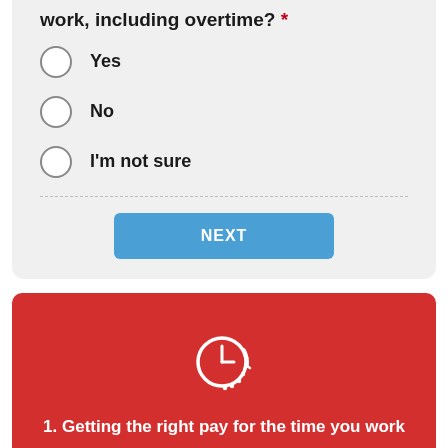work, including overtime? *
Yes
No
I'm not sure
[Figure (illustration): White clock icon with circular arrow on red background]
1. Getting the right pay for the time you work